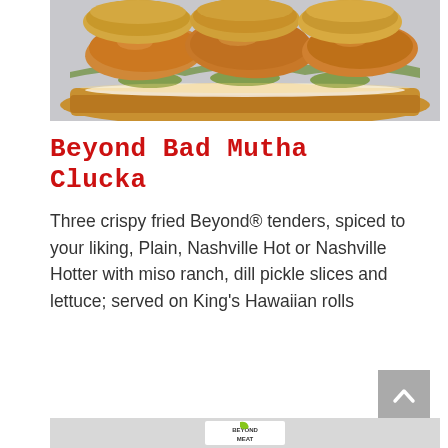[Figure (photo): Crispy fried Beyond tenders on a hoagie roll with lettuce and pickle slices, served on King's Hawaiian rolls — food photograph]
Beyond Bad Mutha Clucka
Three crispy fried Beyond® tenders, spiced to your liking, Plain, Nashville Hot or Nashville Hotter with miso ranch, dill pickle slices and lettuce; served on King's Hawaiian rolls
[Figure (photo): Beyond Meat packaging/wrapper visible at bottom of page showing Beyond Meat logo]